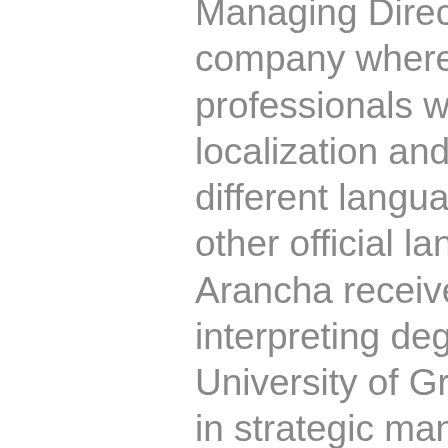Managing Director of Naudana, a company where she leads a team of professionals with a specialization in localization and IT translation from different languages into Spanish and other official languages of Spain. Arancha received her translation and interpreting degree from the University of Granada and her MBA in strategic management from the University of Madrid. She started her career as an in-house Spanish translator for ITP (Bray, Ireland), one of the first localisation companies, and has held different roles in the supplier side of the industry. Besides, Arancha is very honored to serve in the Board of Directors of Elia, the European Language Industry Association, in her second term. For her, relationships and business go together and Elia is the perfect European framework for this. She is curious about other cultures,